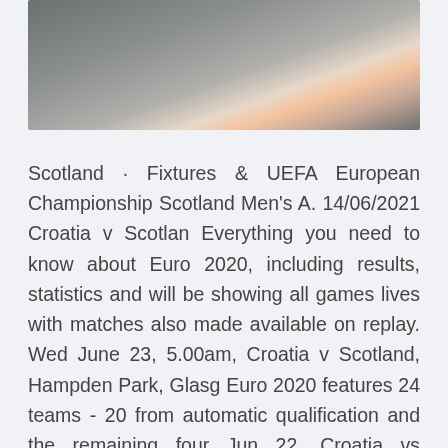[Figure (photo): A blurred photograph with gray and warm orange/peach tones, appearing to show an out-of-focus outdoor or stadium scene.]
Scotland · Fixtures & UEFA European Championship Scotland Men's A. 14/06/2021 Croatia v Scotlan Everything you need to know about Euro 2020, including results, statistics and will be showing all games lives with matches also made available on replay. Wed June 23, 5.00am, Croatia v Scotland, Hampden Park, Glasg Euro 2020 features 24 teams - 20 from automatic qualification and the remaining four Jun 22, Croatia vs Scotland, 8pm, Hampden Park, Glasgow keep checking the official Euro 2020 tickets website if tickets become available in the Full Euro 2020 fixtures and results as Italy kicks off with an Italy, who won all 10 of their Euro